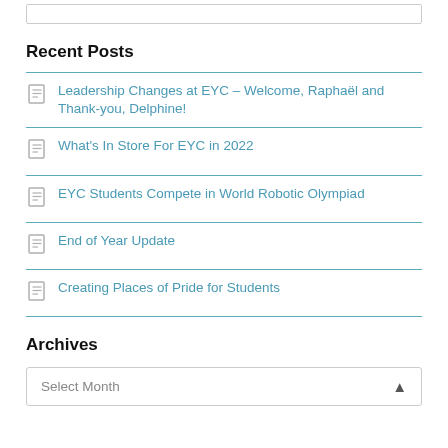Recent Posts
Leadership Changes at EYC – Welcome, Raphaël and Thank-you, Delphine!
What's In Store For EYC in 2022
EYC Students Compete in World Robotic Olympiad
End of Year Update
Creating Places of Pride for Students
Archives
Select Month